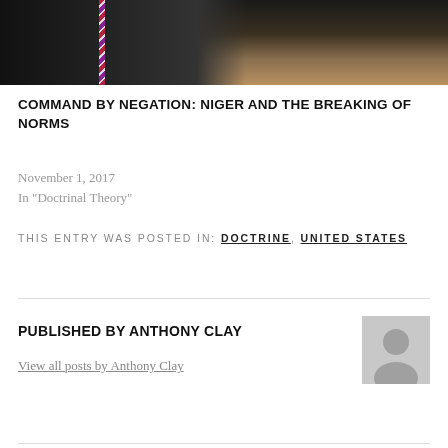[Figure (photo): Photograph of a person in a dark suit with a striped tie, partially cropped, dark background]
COMMAND BY NEGATION: NIGER AND THE BREAKING OF NORMS
November 1, 2017
In "Doctrinal Theory"
THIS ENTRY WAS POSTED IN: DOCTRINE, UNITED STATES
PUBLISHED BY ANTHONY CLAY
View all posts by Anthony Clay
[Figure (photo): Default avatar silhouette placeholder image in gray]